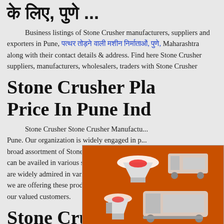के लिए, पुणे ...
Business listings of Stone Crusher manufacturers, suppliers and exporters in Pune, पत्थर तोड़ने वाली मशीन निर्माताओं, पुणे, Maharashtra along with their contact details & address. Find here Stone Crusher suppliers, manufacturers, wholesalers, traders with Stone Crusher
Stone Crusher Pla... Price In Pune Ind...
Stone Crusher Stone Crusher Manufactu... Pune. Our organization is widely engaged in p... broad assortment of Stone Crusher to our pat... can be availed in various specifications These products are widely admired in various industries Apart... we are offering these products at affordable p... our valued customers.
[Figure (advertisement): Orange advertisement sidebar showing stone crusher machines, 'Enjoy 3% discount', 'Click to Chat', 'Enquiry', and 'limingjlmofen@sina.com']
Stone Crusher